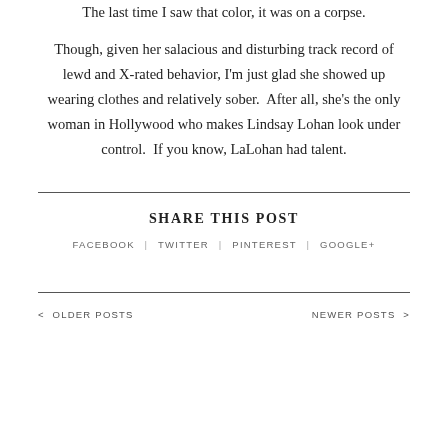The last time I saw that color, it was on a corpse.
Though, given her salacious and disturbing track record of lewd and X-rated behavior, I'm just glad she showed up wearing clothes and relatively sober.  After all, she's the only woman in Hollywood who makes Lindsay Lohan look under control.  If you know, LaLohan had talent.
SHARE THIS POST
FACEBOOK  |  TWITTER  |  PINTEREST  |  GOOGLE+
< OLDER POSTS
NEWER POSTS >